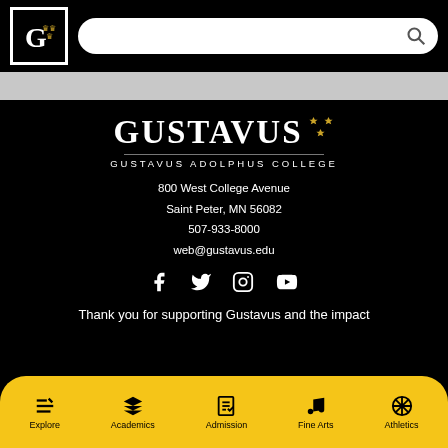Gustavus Adolphus College header with logo and search bar
[Figure (logo): Gustavus Adolphus College G logo in black and gold square border]
GUSTAVUS ADOLPHUS COLLEGE
800 West College Avenue
Saint Peter, MN 56082
507-933-8000
web@gustavus.edu
[Figure (infographic): Social media icons: Facebook, Twitter, Instagram, YouTube]
Thank you for supporting Gustavus and the impact
Explore | Academics | Admission | Fine Arts | Athletics